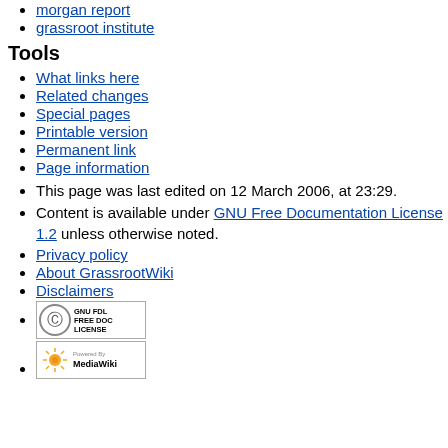morgan report
grassroot institute
Tools
What links here
Related changes
Special pages
Printable version
Permanent link
Page information
This page was last edited on 12 March 2006, at 23:29.
Content is available under GNU Free Documentation License 1.2 unless otherwise noted.
Privacy policy
About GrassrootWiki
Disclaimers
[Figure (logo): GNU FDL Free Doc License badge]
[Figure (logo): Powered by MediaWiki badge]